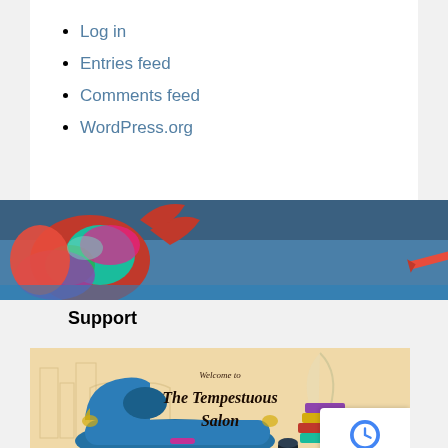Log in
Entries feed
Comments feed
WordPress.org
[Figure (illustration): Decorative banner showing a fantasy/artistic image with colorful beetles or insects against a blue background]
Support
[Figure (illustration): Welcome to The Tempestuous Salon — illustrated promotional image showing a blue ornate chaise lounge/sofa with books, a feather quill and inkwell, on a warm cream/peach background with decorative script text]